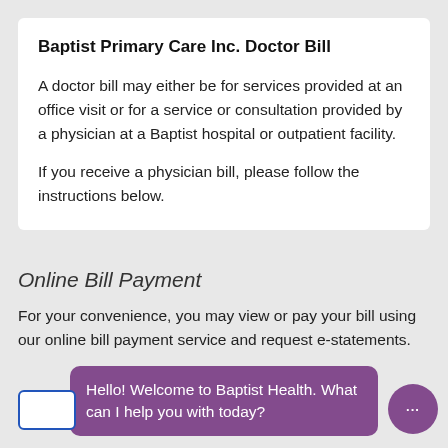Baptist Primary Care Inc. Doctor Bill
A doctor bill may either be for services provided at an office visit or for a service or consultation provided by a physician at a Baptist hospital or outpatient facility.
If you receive a physician bill, please follow the instructions below.
Online Bill Payment
For your convenience, you may view or pay your bill using our online bill payment service and request e-statements.
Hello! Welcome to Baptist Health. What can I help you with today?